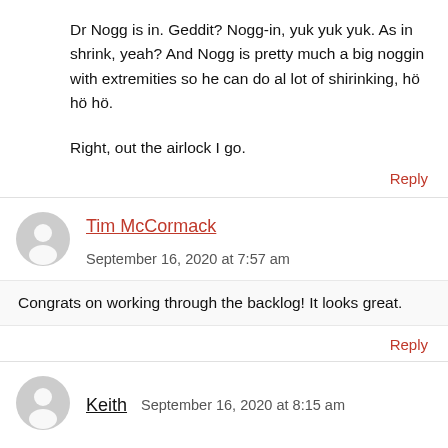Dr Nogg is in. Geddit? Nogg-in, yuk yuk yuk. As in shrink, yeah? And Nogg is pretty much a big noggin with extremities so he can do al lot of shirinking, hö hö hö.

Right, out the airlock I go.
Reply
Tim McCormack   September 16, 2020 at 7:57 am
Congrats on working through the backlog! It looks great.
Reply
Keith   September 16, 2020 at 8:15 am